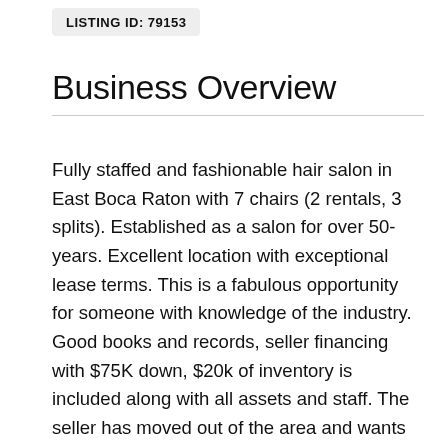LISTING ID: 79153
Business Overview
Fully staffed and fashionable hair salon in East Boca Raton with 7 chairs (2 rentals, 3 splits). Established as a salon for over 50-years. Excellent location with exceptional lease terms. This is a fabulous opportunity for someone with knowledge of the industry. Good books and records, seller financing with $75K down, $20k of inventory is included along with all assets and staff. The seller has moved out of the area and wants an immediate sale. Please refer to listing number 0101159184, business broker